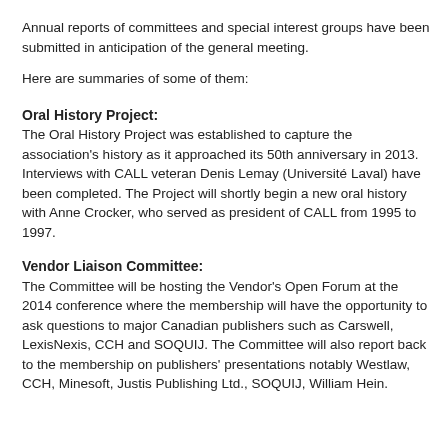Annual reports of committees and special interest groups have been submitted in anticipation of the general meeting.
Here are summaries of some of them:
Oral History Project:
The Oral History Project was established to capture the association's history as it approached its 50th anniversary in 2013. Interviews with CALL veteran Denis Lemay (Université Laval) have been completed. The Project will shortly begin a new oral history with Anne Crocker, who served as president of CALL from 1995 to 1997.
Vendor Liaison Committee:
The Committee will be hosting the Vendor's Open Forum at the 2014 conference where the membership will have the opportunity to ask questions to major Canadian publishers such as Carswell, LexisNexis, CCH and SOQUIJ. The Committee will also report back to the membership on publishers' presentations notably Westlaw, CCH, Minesoft, Justis Publishing Ltd., SOQUIJ, William Hein.